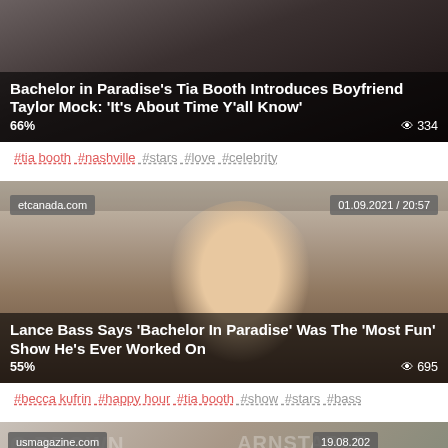[Figure (photo): Article card with dark background photo. Title overlay: 'Bachelor in Paradise's Tia Booth Introduces Boyfriend Taylor Mock: It's About Time Y'all Know'. Shows 66% and 334 views.]
#tia booth #nashville #stars #love #celebrity
[Figure (photo): Article card with photo of Lance Bass smiling. Source: etcanada.com. Date: 01.09.2021 / 20:57. Title: 'Lance Bass Says Bachelor In Paradise Was The Most 55% Show He's Ever Worked On'. 695 views.]
#becca kufrin #happy hour #tia booth #show #stars #bass
[Figure (photo): Article card partially visible. Source: usmagazine.com. Date: 19.08.202... Shows two people smiling with Barnstable Brown background. Scroll-to-top pink button visible.]